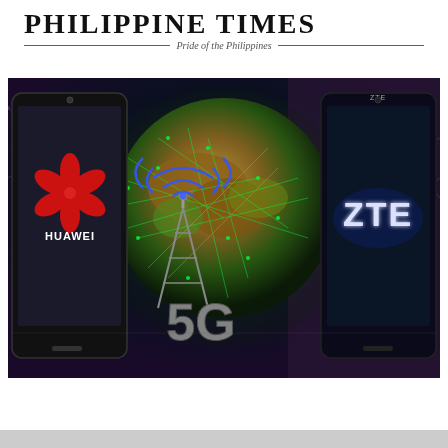Philippine Times — Pride of the Philippines
[Figure (photo): Promotional image showing two smartphones — a Huawei device on the left and a ZTE device on the right — flanking a 5G wireless tower with signal waves, set against a glowing world map background with green network lines. Large '5G' text displayed at the bottom center.]